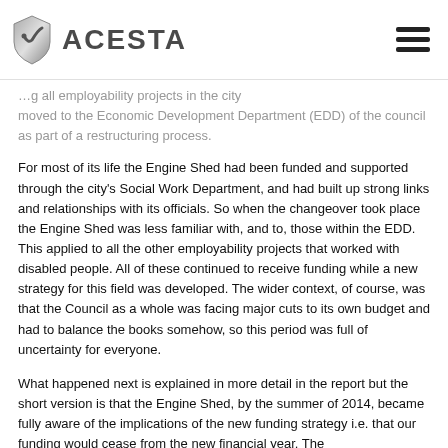ACESTA
…g all employability projects in the city moved to the Economic Development Department (EDD) of the council as part of a restructuring process.
For most of its life the Engine Shed had been funded and supported through the city's Social Work Department, and had built up strong links and relationships with its officials. So when the changeover took place the Engine Shed was less familiar with, and to, those within the EDD. This applied to all the other employability projects that worked with disabled people. All of these continued to receive funding while a new strategy for this field was developed. The wider context, of course, was that the Council as a whole was facing major cuts to its own budget and had to balance the books somehow, so this period was full of uncertainty for everyone.
What happened next is explained in more detail in the report but the short version is that the Engine Shed, by the summer of 2014, became fully aware of the implications of the new funding strategy i.e. that our funding would cease from the new financial year. The